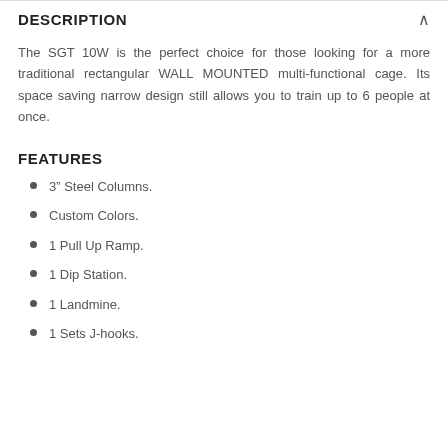DESCRIPTION
The SGT 10W is the perfect choice for those looking for a more traditional rectangular WALL MOUNTED multi-functional cage. Its space saving narrow design still allows you to train up to 6 people at once.
FEATURES
3″ Steel Columns.
Custom Colors.
1 Pull Up Ramp.
1 Dip Station.
1 Landmine.
1 Sets J-hooks.